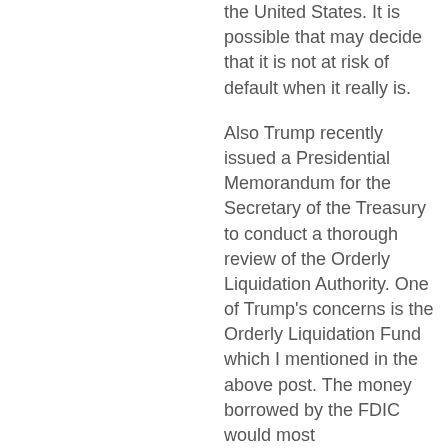the United States. It is possible that may decide that it is not at risk of default when it really is.
Also Trump recently issued a Presidential Memorandum for the Secretary of the Treasury to conduct a thorough review of the Orderly Liquidation Authority. One of Trump's concerns is the Orderly Liquidation Fund which I mentioned in the above post. The money borrowed by the FDIC would most